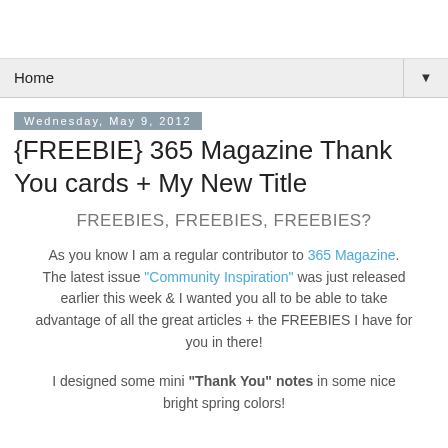Home ▼
Wednesday, May 9, 2012
{FREEBIE} 365 Magazine Thank You cards + My New Title
FREEBIES, FREEBIES, FREEBIES?
As you know I am a regular contributor to 365 Magazine. The latest issue "Community Inspiration" was just released earlier this week & I wanted you all to be able to take advantage of all the great articles + the FREEBIES I have for you in there!
I designed some mini "Thank You" notes in some nice bright spring colors!